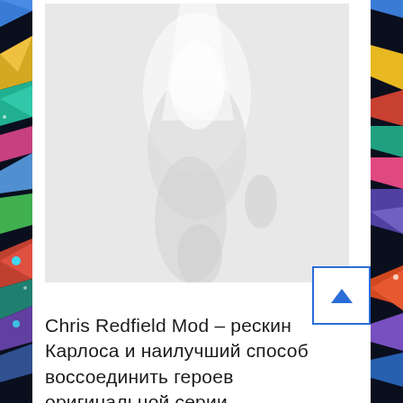[Figure (photo): A faded/light grey photo showing a figure, possibly a game character, against a pale background. The image is mostly washed out with light grey tones.]
Chris Redfield Mod – рескин Карлоса и наилучший способ воссоединить героев оригинальной серии